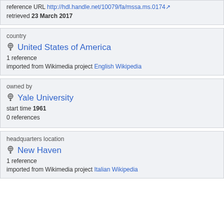reference URL http://hdl.handle.net/10079/fa/mssa.ms.0174 retrieved 23 March 2017
country
United States of America
1 reference
imported from Wikimedia project English Wikipedia
owned by
Yale University
start time 1961
0 references
headquarters location
New Haven
1 reference
imported from Wikimedia project Italian Wikipedia